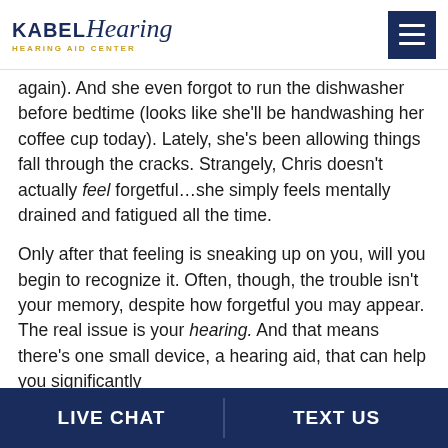Kabel Hearing — Hearing Aid Center
again). And she even forgot to run the dishwasher before bedtime (looks like she'll be handwashing her coffee cup today). Lately, she's been allowing things fall through the cracks. Strangely, Chris doesn't actually feel forgetful...she simply feels mentally drained and fatigued all the time.
Only after that feeling is sneaking up on you, will you begin to recognize it. Often, though, the trouble isn't your memory, despite how forgetful you may appear. The real issue is your hearing. And that means there's one small device, a hearing aid, that can help you significantly
LIVE CHAT   TEXT US